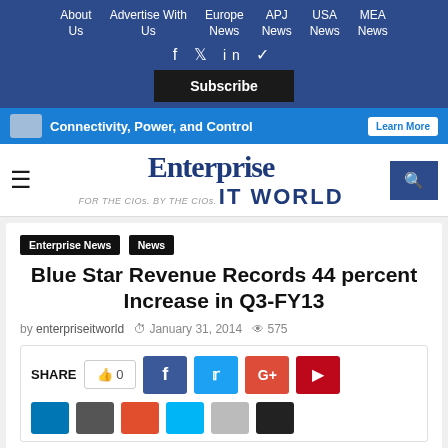About Us | Advertise With Us | Europe News | APJ News | USA News | MEA News
[Figure (screenshot): Social media icons: Facebook, Twitter, LinkedIn, RSS]
[Figure (screenshot): Subscribe button (black background)]
[Figure (screenshot): Advertisement banner: Connectivity, Power, and Control - Learn More button]
[Figure (logo): Enterprise IT World logo with hamburger menu and search icon]
Enterprise News | News
Blue Star Revenue Records 44 percent Increase in Q3-FY13
by enterpriseitworld  January 31, 2014  575
SHARE  0  (Facebook, Twitter, Google+, Pinterest, LinkedIn, and more share buttons)